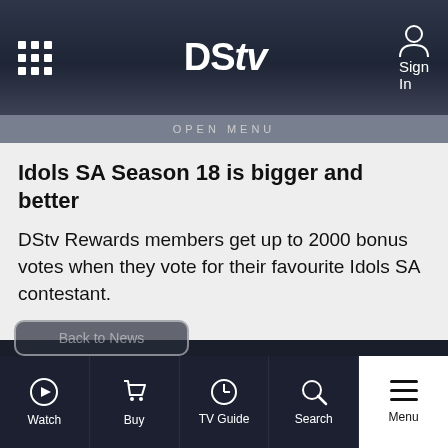DStv — Sign In
OPEN MENU
Idols SA Season 18 is bigger and better
DStv Rewards members get up to 2000 bonus votes when they vote for their favourite Idols SA contestant.
MultiChoice Group and its partners use cookies to help deliver services and for advertising purposes (see details in Privacy Policy). By using this site you agree to this. You can change your cookie settings in your browser.
Accept Cookies
Let's Chat!
Watch  Buy  TV Guide  Search  Menu